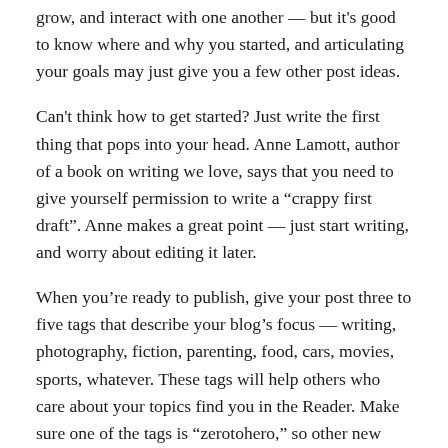grow, and interact with one another — but it's good to know where and why you started, and articulating your goals may just give you a few other post ideas.
Can't think how to get started? Just write the first thing that pops into your head. Anne Lamott, author of a book on writing we love, says that you need to give yourself permission to write a “crappy first draft”. Anne makes a great point — just start writing, and worry about editing it later.
When you’re ready to publish, give your post three to five tags that describe your blog’s focus — writing, photography, fiction, parenting, food, cars, movies, sports, whatever. These tags will help others who care about your topics find you in the Reader. Make sure one of the tags is “zerotohero,” so other new bloggers can find you, too.